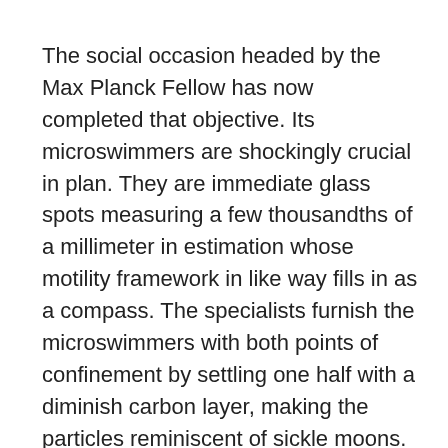The social occasion headed by the Max Planck Fellow has now completed that objective. Its microswimmers are shockingly crucial in plan. They are immediate glass spots measuring a few thousandths of a millimeter in estimation whose motility framework in like way fills in as a compass. The specialists furnish the microswimmers with both points of confinement by settling one half with a diminish carbon layer, making the particles reminiscent of sickle moons.
Right when lit up dependably, such basically made inferred Janus particles experience a blend of water and a dissolvable standard